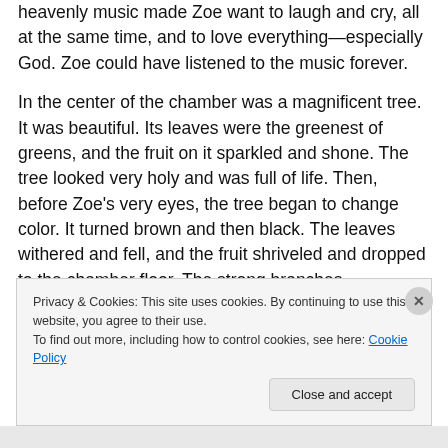heavenly music made Zoe want to laugh and cry, all at the same time, and to love everything—especially God. Zoe could have listened to the music forever.
In the center of the chamber was a magnificent tree. It was beautiful. Its leaves were the greenest of greens, and the fruit on it sparkled and shone. The tree looked very holy and was full of life. Then, before Zoe's very eyes, the tree began to change color. It turned brown and then black. The leaves withered and fell, and the fruit shriveled and dropped to the chamber floor. The strong branches disintegrated into ash and drifted to the floor. Within
Privacy & Cookies: This site uses cookies. By continuing to use this website, you agree to their use.
To find out more, including how to control cookies, see here: Cookie Policy